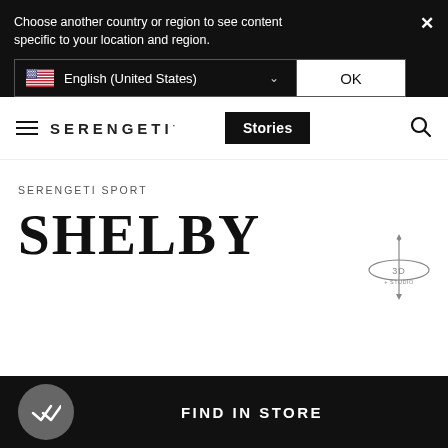Choose another country or region to see content specific to your location and region.
English (United States)
OK
SERENGETI  Stories
SERENGETI SPORT
SHELBY
[Figure (logo): 3D viewer icon with orbit ring]
FIND IN STORE